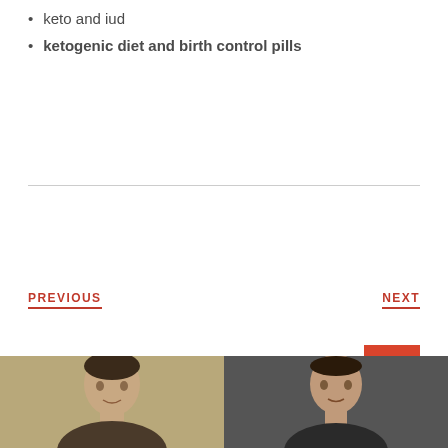keto and iud
ketogenic diet and birth control pills
PREVIOUS
NEXT
[Figure (photo): Two portrait photos of men side by side at the bottom of the page]